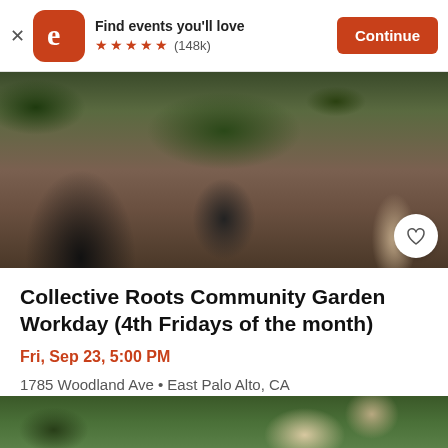Find events you'll love ★★★★★ (148k) Continue
[Figure (photo): People gardening outdoors in a community garden, crouching over soil with mulch, green plants in background]
Collective Roots Community Garden Workday (4th Fridays of the month)
Fri, Sep 23, 5:00 PM
1785 Woodland Ave • East Palo Alto, CA
Free
[Figure (photo): Partial view of another event listing showing person with animal outdoors]